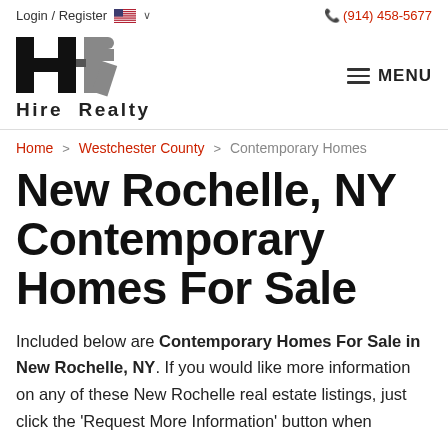Login / Register   🇺🇸 ∨   (914) 458-5677
[Figure (logo): Hire Realty logo with stylized HR letters and text 'Hire Realty']
MENU
Home > Westchester County > Contemporary Homes
New Rochelle, NY Contemporary Homes For Sale
Included below are Contemporary Homes For Sale in New Rochelle, NY. If you would like more information on any of these New Rochelle real estate listings, just click the 'Request More Information' button when